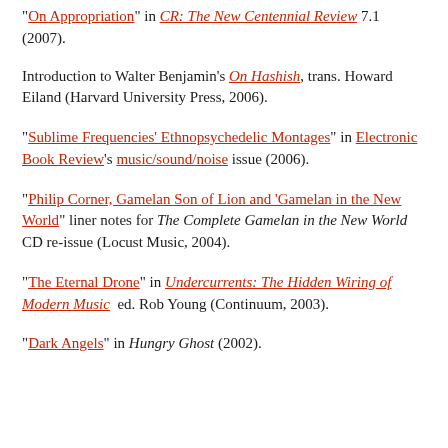"On Appropriation" in CR: The New Centennial Review 7.1 (2007).
Introduction to Walter Benjamin's On Hashish, trans. Howard Eiland (Harvard University Press, 2006).
"Sublime Frequencies' Ethnopsychedelic Montages" in Electronic Book Review's music/sound/noise issue (2006).
"Philip Corner, Gamelan Son of Lion and 'Gamelan in the New World'" liner notes for The Complete Gamelan in the New World CD re-issue (Locust Music, 2004).
"The Eternal Drone" in Undercurrents: The Hidden Wiring of Modern Music ed. Rob Young (Continuum, 2003).
"Dark Angels" in Hungry Ghost (2002).